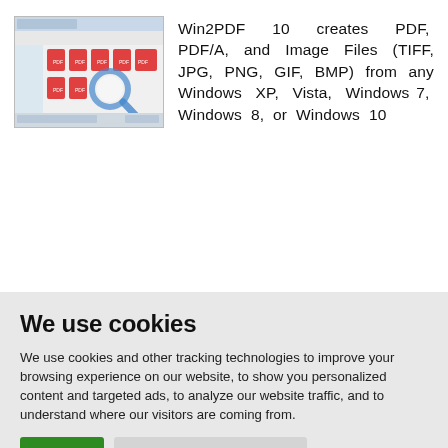[Figure (screenshot): Screenshot of Win2PDF File Save dialog window showing PDF file icons and a magnifying glass cursor]
Win2PDF 10 creates PDF, PDF/A, and Image Files (TIFF, JPG, PNG, GIF, BMP) from any Windows XP, Vista, Windows 7, Windows 8, or Windows 10
We use cookies
We use cookies and other tracking technologies to improve your browsing experience on our website, to show you personalized content and targeted ads, to analyze our website traffic, and to understand where our visitors are coming from.
I agree | Change my preferences